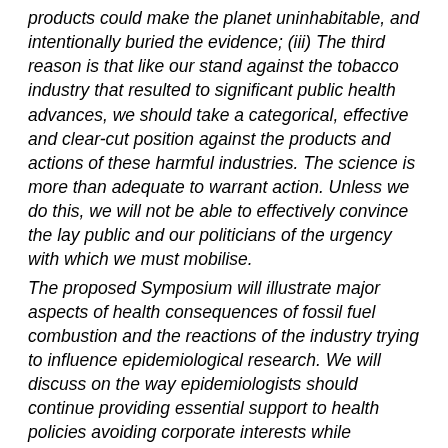products could make the planet uninhabitable, and intentionally buried the evidence; (iii) The third reason is that like our stand against the tobacco industry that resulted to significant public health advances, we should take a categorical, effective and clear-cut position against the products and actions of these harmful industries. The science is more than adequate to warrant action. Unless we do this, we will not be able to effectively convince the lay public and our politicians of the urgency with which we must mobilise.
The proposed Symposium will illustrate major aspects of health consequences of fossil fuel combustion and the reactions of the industry trying to influence epidemiological research. We will discuss on the way epidemiologists should continue providing essential support to health policies avoiding corporate interests while encouraging industry and other stakeholder involvement as a part of